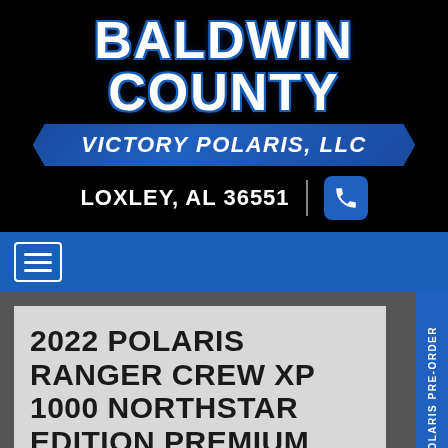BALDWIN COUNTY
VICTORY POLARIS, LLC
LOXLEY, AL 36551
[Figure (other): Phone icon button]
[Figure (other): Hamburger menu navigation button]
2022 POLARIS RANGER CREW XP 1000 NORTHSTAR EDITION PREMIUM
New Utility Vehicles - Ranger Special Editions
POLARIS PRE-ORDER